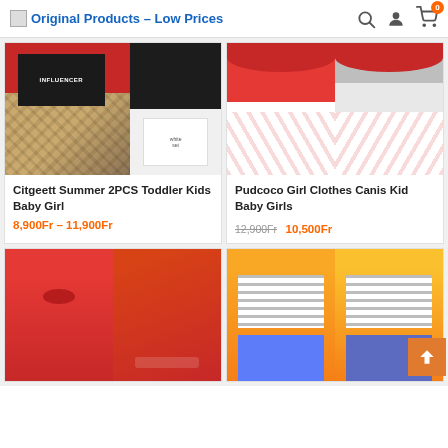Original Products – Low Prices
[Figure (photo): Product image collage: black top with INFLUENCER text, leopard print skirt set for toddler girl]
Citgeett Summer 2PCS Toddler Kids Baby Girl
8,900Fr – 11,900Fr
[Figure (photo): Product image: red ruffled off-shoulder top with floral skirt for baby girls, two poses]
Pudcoco Girl Clothes Canis Kid Baby Girls
12,900Fr  10,500Fr
[Figure (photo): Product image: red jumpsuit with bow front, discount badge -11%, two poses of girl model]
[Figure (photo): Product image: yellow jacket with striped top and jeans for girls, discount badge -9%, two poses]